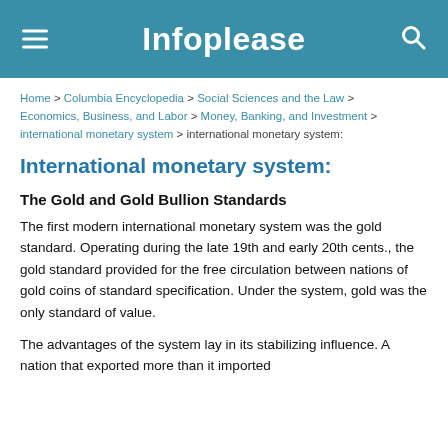Infoplease
Home > Columbia Encyclopedia > Social Sciences and the Law > Economics, Business, and Labor > Money, Banking, and Investment > international monetary system > international monetary system:
International monetary system:
The Gold and Gold Bullion Standards
The first modern international monetary system was the gold standard. Operating during the late 19th and early 20th cents., the gold standard provided for the free circulation between nations of gold coins of standard specification. Under the system, gold was the only standard of value.
The advantages of the system lay in its stabilizing influence. A nation that exported more than it imported